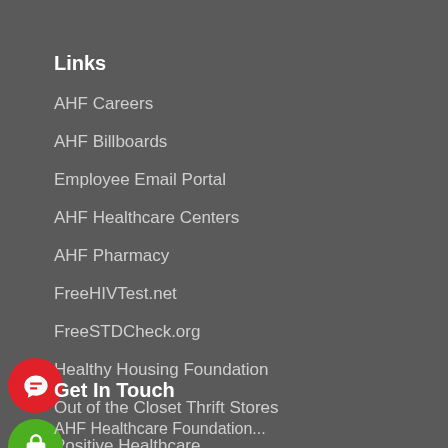Links
AHF Careers
AHF Billboards
Employee Email Portal
AHF Healthcare Centers
AHF Pharmacy
FreeHIVTest.net
FreeSTDCheck.org
Healthy Housing Foundation
Out of the Closet Thrift Stores
Positive Healthcare
Get In Touch